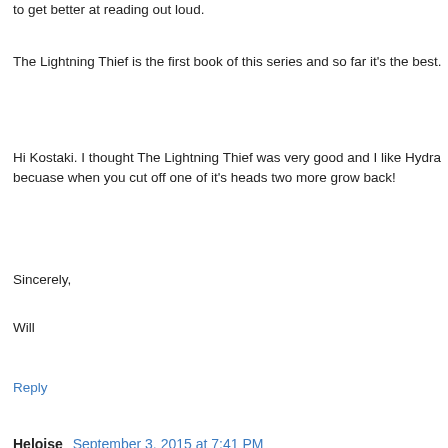to get better at reading out loud.
The Lightning Thief is the first book of this series and so far it's the best.
Hi Kostaki. I thought The Lightning Thief was very good and I like Hydra becuase when you cut off one of it's heads two more grow back!
Sincerely,
Will
Reply
Heloise  September 3, 2015 at 7:41 PM
Dear Mrs Yollis and class ,
This is Héloise. Over the summer I read a superbe, realistic fiction book titled Anastasia Krupnik, written by Lois Lowry. I liked this book a lot because the story is about a little girl and I liked that the girl always changes her mind. For